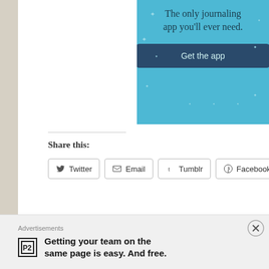[Figure (screenshot): Advertisement banner for a journaling app with blue background. Text: 'The only journaling app you'll ever need.' with a 'Get the app' button.]
Share this:
[Figure (screenshot): Social sharing buttons: Twitter, Email, Tumblr, Facebook, Pinterest]
Loading...
Posted in: recipes, Rockwall, Uncategorized | Tagged: cheese, chicken, chic... mushroom soup, delicious, easy cooking, food, good food, lemon chicken, re...
Advertisements
Getting your team on the same page is easy. And free.